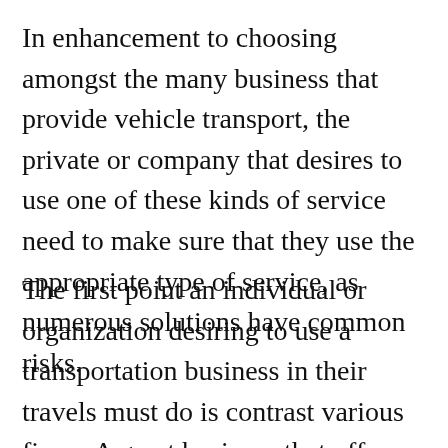In enhancement to choosing amongst the many business that provide vehicle transport, the private or company that desires to use one of these kinds of service need to make sure that they use the appropriate type of service, as numerous solutions have common risks.
The first point an individual or organization desiring to use a transportation business in their travels must do is contrast various firms. A great business that offers transport, consisting of roadway and rail products brokers, one that possesses as well as keeps cars for hire, or a car rental firm. When